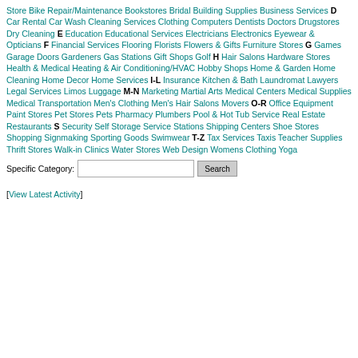Store Bike Repair/Maintenance Bookstores Bridal Building Supplies Business Services D Car Rental Car Wash Cleaning Services Clothing Computers Dentists Doctors Drugstores Dry Cleaning E Education Educational Services Electricians Electronics Eyewear & Opticians F Financial Services Flooring Florists Flowers & Gifts Furniture Stores G Games Garage Doors Gardeners Gas Stations Gift Shops Golf H Hair Salons Hardware Stores Health & Medical Heating & Air Conditioning/HVAC Hobby Shops Home & Garden Home Cleaning Home Decor Home Services I-L Insurance Kitchen & Bath Laundromat Lawyers Legal Services Limos Luggage M-N Marketing Martial Arts Medical Centers Medical Supplies Medical Transportation Men's Clothing Men's Hair Salons Movers O-R Office Equipment Paint Stores Pet Stores Pets Pharmacy Plumbers Pool & Hot Tub Service Real Estate Restaurants S Security Self Storage Service Stations Shipping Centers Shoe Stores Shopping Signmaking Sporting Goods Swimwear T-Z Tax Services Taxis Teacher Supplies Thrift Stores Walk-in Clinics Water Stores Web Design Womens Clothing Yoga
Specific Category: [text input] Search
[View Latest Activity]